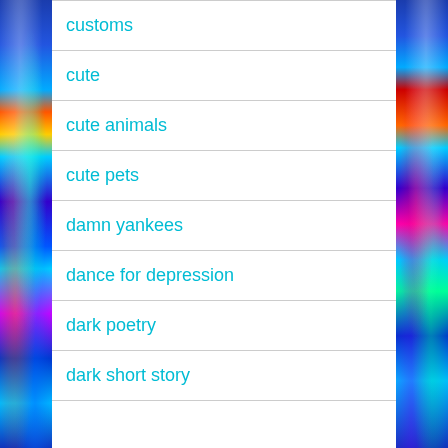customs
cute
cute animals
cute pets
damn yankees
dance for depression
dark poetry
dark short story